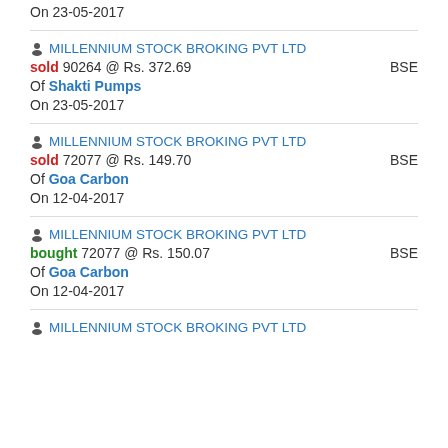On 23-05-2017
MILLENNIUM STOCK BROKING PVT LTD
sold 90264 @ Rs. 372.69 BSE
Of Shakti Pumps
On 23-05-2017
MILLENNIUM STOCK BROKING PVT LTD
sold 72077 @ Rs. 149.70 BSE
Of Goa Carbon
On 12-04-2017
MILLENNIUM STOCK BROKING PVT LTD
bought 72077 @ Rs. 150.07 BSE
Of Goa Carbon
On 12-04-2017
MILLENNIUM STOCK BROKING PVT LTD